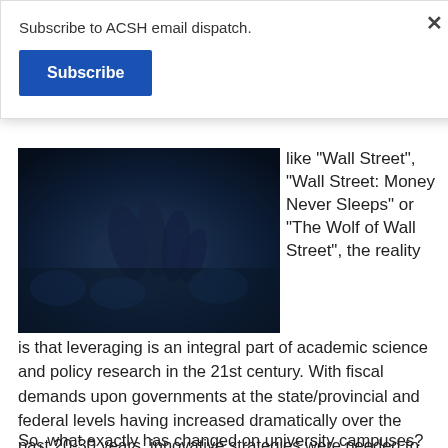Subscribe to ACSH email dispatch.
Subscribe
[Figure (photo): Dark photo showing hands, appears to be a person at a table with blue lighting in background]
like "Wall Street", "Wall Street: Money Never Sleeps" or "The Wolf of Wall Street", the reality is that leveraging is an integral part of academic science and policy research in the 21st century. With fiscal demands upon governments at the state/provincial and federal levels having increased dramatically over the past 20-30 years, innovative strategies were needed to ensure that the public sector's high level of research (not to mention quality and importance) were not sacrificed.
So, what exactly has changed on university campuses?